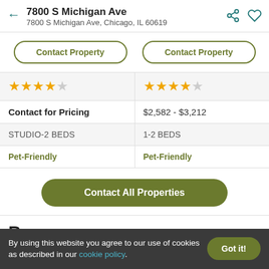7800 S Michigan Ave
7800 S Michigan Ave, Chicago, IL 60619
Contact Property | Contact Property
★★★★☆ (left) ★★★★☆ (right)
|  |  |
| --- | --- |
| Contact for Pricing | $2,582 - $3,212 |
| STUDIO-2 BEDS | 1-2 BEDS |
| Pet-Friendly | Pet-Friendly |
Contact All Properties
Nearby Search
By using this website you agree to our use of cookies as described in our cookie policy.